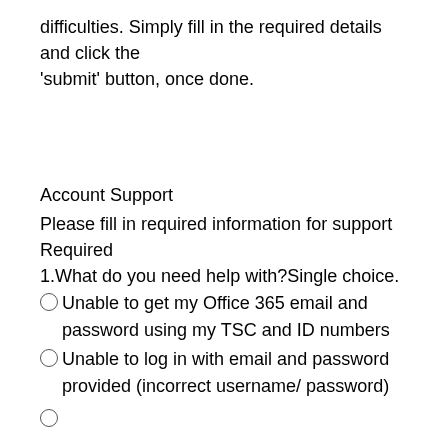difficulties. Simply fill in the required details and click the 'submit' button, once done.
Account Support
Please fill in required information for support
Required
1.What do you need help with?Single choice.
Unable to get my Office 365 email and password using my TSC and ID numbers
Unable to log in with email and password provided (incorrect username/ password)